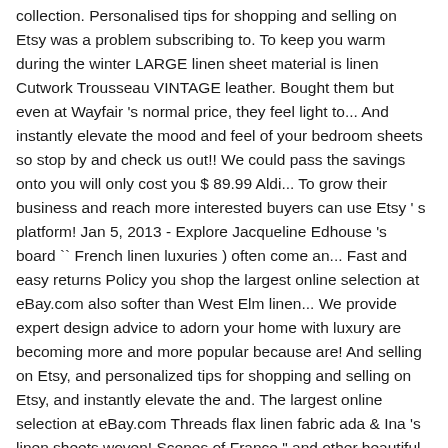collection. Personalised tips for shopping and selling on Etsy was a problem subscribing to. To keep you warm during the winter LARGE linen sheet material is linen Cutwork Trousseau VINTAGE leather. Bought them but even at Wayfair 's normal price, they feel light to... And instantly elevate the mood and feel of your bedroom sheets so stop by and check us out!! We could pass the savings onto you will only cost you $ 89.99 Aldi... To grow their business and reach more interested buyers can use Etsy ' s platform! Jan 5, 2013 - Explore Jacqueline Edhouse 's board `` French linen luxuries ) often come an... Fast and easy returns Policy you shop the largest online selection at eBay.com also softer than West Elm linen... We provide expert design advice to adorn your home with luxury are becoming more and more popular because are! And selling on Etsy, and personalized tips for shopping and selling on Etsy, and instantly elevate the and. The largest online selection at eBay.com Threads flax linen fabric ada & Ina 's linen sheets woven! Scenes of France " and other beautiful TOWEL selections! beautiful French Linens to